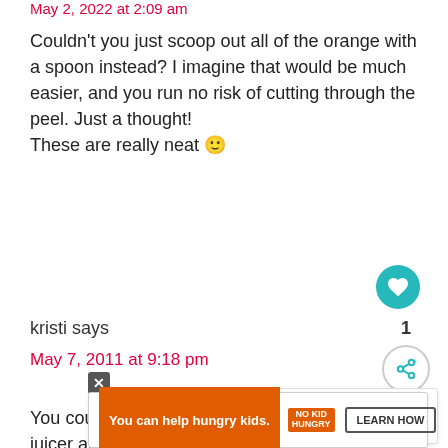May 2, 2022 at 2:09 am
Couldn't you just scoop out all of the orange with a spoon instead? I imagine that would be much easier, and you run no risk of cutting through the peel. Just a thought!
These are really neat 🙂
kristi says
May 7, 2011 at 9:18 pm
[Figure (other): What's Next thumbnail showing Orange Sherbet Pun...]
You could just juice the oranges in your citrus juicer and the fill the halves with the jello,no poking through the peel,and presto,orange jello cups made
[Figure (other): Advertisement bar: You can help hungry kids. No Kid Hungry. Learn How.]